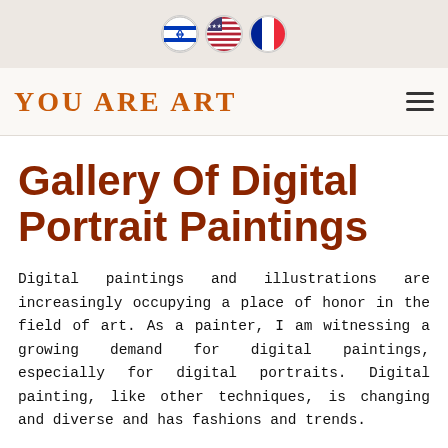[Figure (illustration): Top navigation bar with three circular flag icons: Israeli flag, US flag, French flag]
YOU ARE ART
Gallery Of Digital Portrait Paintings
Digital paintings and illustrations are increasingly occupying a place of honor in the field of art. As a painter, I am witnessing a growing demand for digital paintings, especially for digital portraits. Digital painting, like other techniques, is changing and diverse and has fashions and trends.